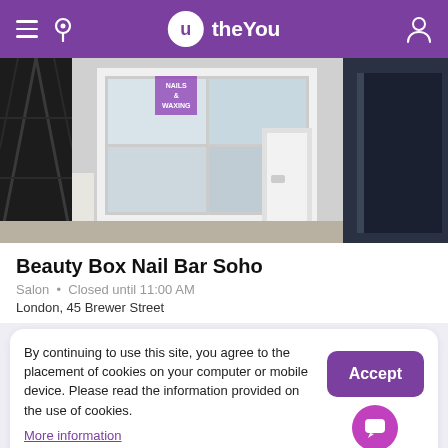theYou - navigation header with hamburger menu, location icon, logo, and user icon
[Figure (photo): Exterior storefront photo of Beauty Box Nail Bar, a London salon with large window, decorative iron gate on left, and dark door on right, with a purple waxing sign in the window]
Beauty Box Nail Bar Soho
Salon • Closed until 11:00 AM
London, 45 Brewer Street
By continuing to use this site, you agree to the placement of cookies on your computer or mobile device. Please read the information provided on the use of cookies.
More information
Accept